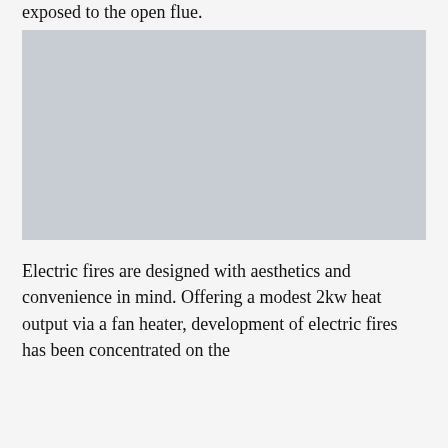exposed to the open flue.
[Figure (photo): A large light gray rectangular placeholder image, likely depicting an electric fire or related product.]
Electric fires are designed with aesthetics and convenience in mind. Offering a modest 2kw heat output via a fan heater, development of electric fires has been concentrated on the